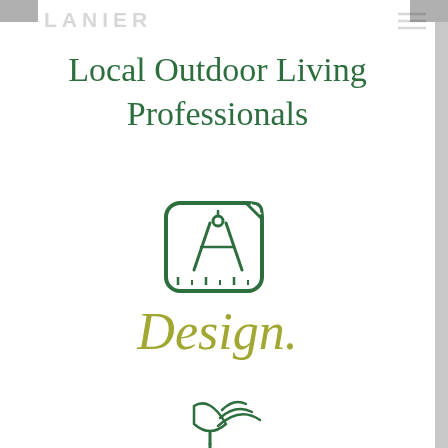LANIER
Local Outdoor Living
Professionals
[Figure (illustration): Green line-art icon of a drafting/design tool (compass and ruler in a rounded square frame)]
Design.
[Figure (illustration): Green line-art icon of a trowel with wifi/signal lines, representing smart installation or landscaping tool]